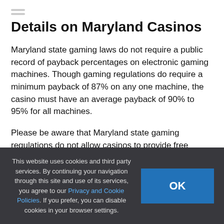Details on Maryland Casinos
Maryland state gaming laws do not require a public record of payback percentages on electronic gaming machines. Though gaming regulations do require a minimum payback of 87% on any one machine, the casino must have an average payback of 90% to 95% for all machines.
Please be aware that Maryland state gaming regulations do not allow casinos to provide free
This website uses cookies and third party services. By continuing your navigation through this site and use of its services, you agree to our Privacy and Cookie Policies. If you prefer, you can disable cookies in your browser settings.